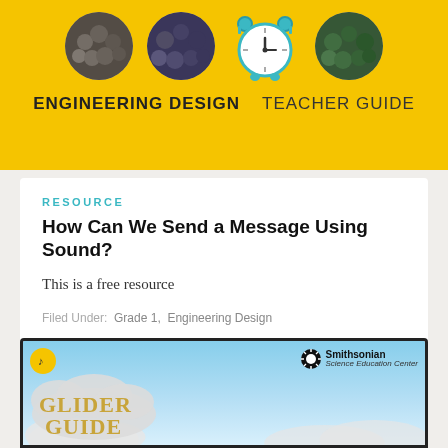[Figure (illustration): Yellow banner with four circular images (crowd photos) and a blue alarm clock in the center, with 'ENGINEERING DESIGN' in bold and 'TEACHER GUIDE' in regular weight below]
RESOURCE
How Can We Send a Message Using Sound?
This is a free resource
Filed Under: Grade 1, Engineering Design
[Figure (illustration): Smithsonian Science Education Center banner with sky/clouds background, music note icon, Smithsonian logo, and 'GLIDER GUIDE' text in golden letters on a cloud speech bubble]